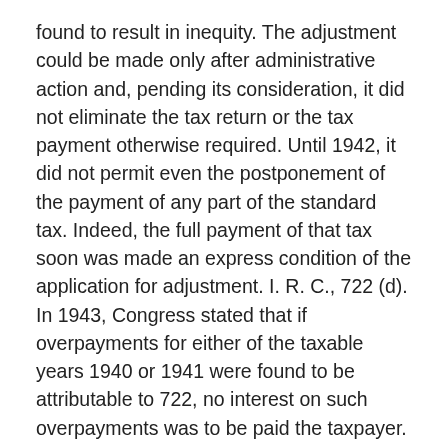found to result in inequity. The adjustment could be made only after administrative action and, pending its consideration, it did not eliminate the tax return or the tax payment otherwise required. Until 1942, it did not permit even the postponement of the payment of any part of the standard tax. Indeed, the full payment of that tax soon was made an express condition of the application for adjustment. I. R. C., 722 (d). In 1943, Congress stated that if overpayments for either of the taxable years 1940 or 1941 were found to be attributable to 722, no interest on such overpayments was to be paid the taxpayer. 11 At least to that extent, Congress expressly recognized that the funds paid as excess profits taxes, when due and without the benefit of 722, were funds owed to and usable by the Government.
The significance of this statutory scheme further appears when it is applied to the instant case. If the instant taxpayer